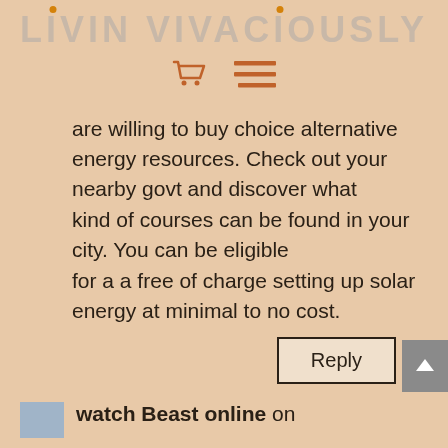LIVIN VIVACIOUSLY
are willing to buy choice alternative energy resources. Check out your nearby govt and discover what kind of courses can be found in your city. You can be eligible for a a free of charge setting up solar energy at minimal to no cost.
Reply
watch Beast online on